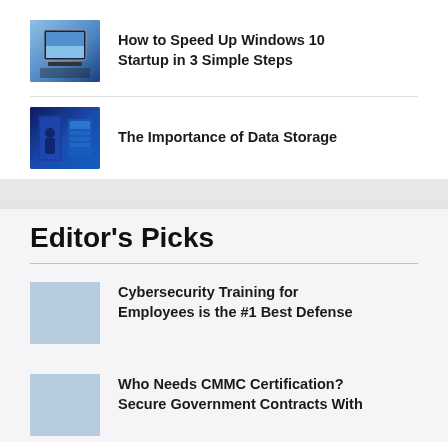How to Speed Up Windows 10 Startup in 3 Simple Steps
The Importance of Data Storage
Editor’s Picks
Cybersecurity Training for Employees is the #1 Best Defense
Who Needs CMMC Certification? Secure Government Contracts With